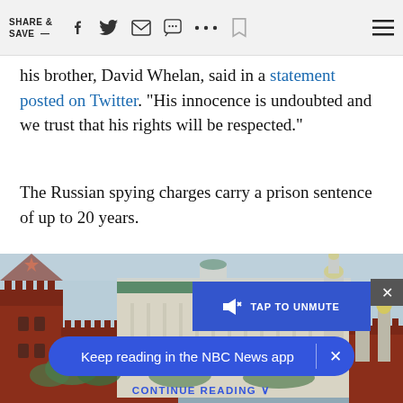SHARE & SAVE —
his brother, David Whelan, said in a statement posted on Twitter. "His innocence is undoubted and we trust that his rights will be respected."
The Russian spying charges carry a prison sentence of up to 20 years.
[Figure (photo): Moscow Kremlin skyline with towers and golden domes against a hazy sky]
TAP TO UNMUTE
Keep reading in the NBC News app
CONTINUE READING